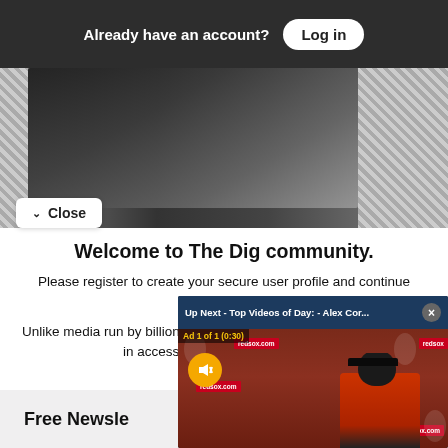Already have an account? Log in
[Figure (photo): Dark industrial/stadium background image]
Close
Welcome to The Dig community.
Please register to create your secure user profile and continue reading.
Unlike media run by billionaires and hedge funds, we do not believe in access of the last free n...
[Figure (screenshot): Video overlay: Up Next - Top Videos of Day: - Alex Cor... Ad 1 of 1 (0:30), showing Red Sox press conference with man in red hoodie, redsox.com branding, mute button]
Free Newsle...